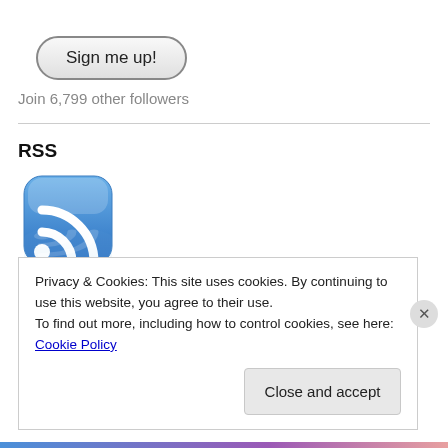[Figure (other): Sign me up! button with rounded pill shape border]
Join 6,799 other followers
RSS
[Figure (logo): RSS feed icon — blue rounded square with white wifi-style signal arcs and a reflection below]
Privacy & Cookies: This site uses cookies. By continuing to use this website, you agree to their use.
To find out more, including how to control cookies, see here: Cookie Policy
[Figure (other): Close and accept button]